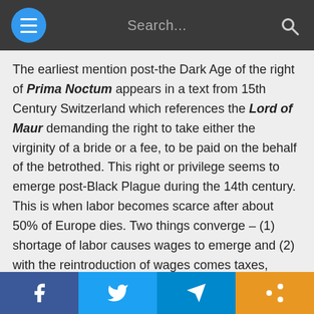Search...
The earliest mention post-the Dark Age of the right of Prima Noctum appears in a text from 15th Century Switzerland which references the Lord of Maur demanding the right to take either the virginity of a bride or a fee, to be paid on the behalf of the betrothed. This right or privilege seems to emerge post-Black Plague during the 14th century. This is when labor becomes scarce after about 50% of Europe dies. Two things converge – (1) shortage of labor causes wages to emerge and (2) with the reintroduction of wages comes taxes, fines, and fees.
This right of Prima Noctum appears to be merely symbolic, as the fee was now required to be paid by the husband or the lord would take the girl on her wedding night. It is a